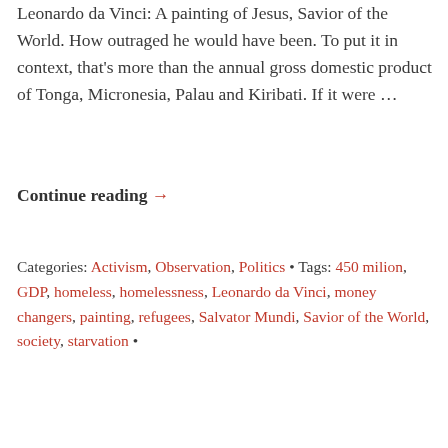Leonardo da Vinci: A painting of Jesus, Savior of the World. How outraged he would have been. To put it in context, that's more than the annual gross domestic product of Tonga, Micronesia, Palau and Kiribati. If it were …
Continue reading →
Categories: Activism, Observation, Politics • Tags: 450 milion, GDP, homeless, homelessness, Leonardo da Vinci, money changers, painting, refugees, Salvator Mundi, Savior of the World, society, starvation •